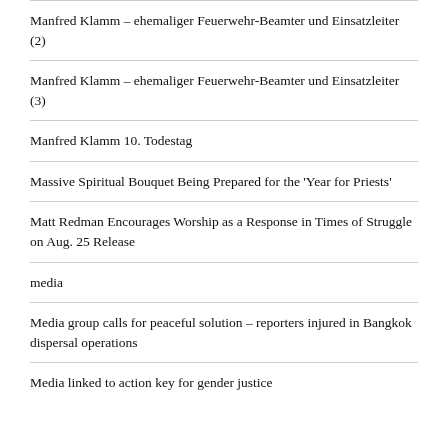Manfred Klamm – ehemaliger Feuerwehr-Beamter und Einsatzleiter (2)
Manfred Klamm – ehemaliger Feuerwehr-Beamter und Einsatzleiter (3)
Manfred Klamm 10. Todestag
Massive Spiritual Bouquet Being Prepared for the 'Year for Priests'
Matt Redman Encourages Worship as a Response in Times of Struggle on Aug. 25 Release
media
Media group calls for peaceful solution – reporters injured in Bangkok dispersal operations
Media linked to action key for gender justice